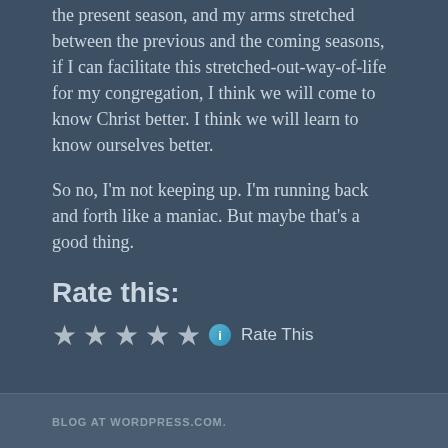the present season, and my arms stretched between the previous and the coming seasons, if I can facilitate this stretched-out-way-of-life for my congregation, I think we will come to know Christ better. I think we will learn to know ourselves better.
So no, I'm not keeping up. I'm running back and forth like a maniac. But maybe that's a good thing.
Rate this:
[Figure (other): Five star rating widget with info icon and 'Rate This' label]
BLOG AT WORDPRESS.COM.